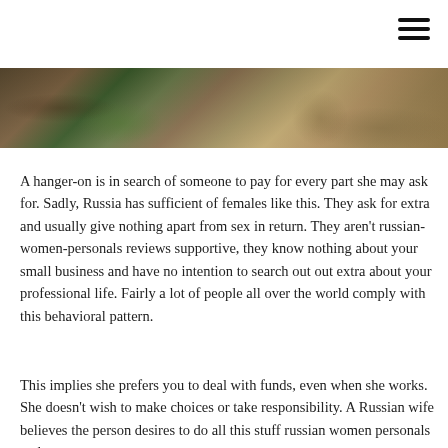[Figure (photo): Outdoor photograph showing sandy ground with some green plant foliage and rock or dirt background, cropped as a horizontal banner strip.]
A hanger-on is in search of someone to pay for every part she may ask for. Sadly, Russia has sufficient of females like this. They ask for extra and usually give nothing apart from sex in return. They aren't russian-women-personals reviews supportive, they know nothing about your small business and have no intention to search out out extra about your professional life. Fairly a lot of people all over the world comply with this behavioral pattern.
This implies she prefers you to deal with funds, even when she works. She doesn't wish to make choices or take responsibility. A Russian wife believes the person desires to do all this stuff russian women personals and